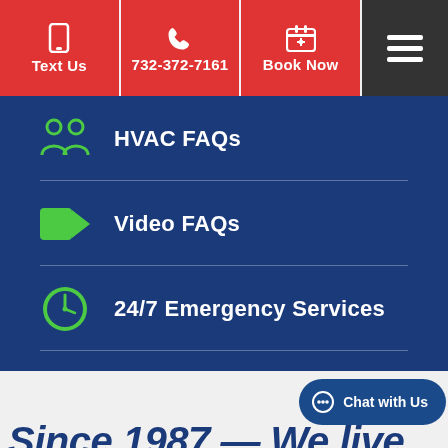Text Us
732-372-7161
Book Now
HVAC FAQs
Video FAQs
24/7 Emergency Services
Since 1987 — We live
Chat with Us